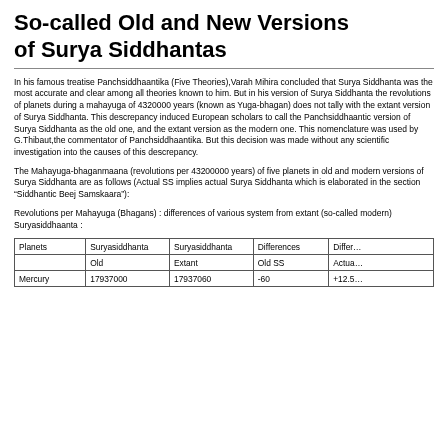So-called Old and New Versions of Surya Siddhantas
In his famous treatise Panchsiddhaantika (Five Theories),Varah Mihira concluded that Surya Siddhanta was the most accurate and clear among all theories known to him. But in his version of Surya Siddhanta the revolutions of planets during a mahayuga of 4320000 years (known as Yuga-bhagan) does not tally with the extant version of Surya Siddhanta. This descrepancy induced European scholars to call the Panchsiddhaantic version of Surya Siddhanta as the old one, and the extant version as the modern one. This nomenclature was used by G.Thibaut,the commentator of Panchsiddhaantika. But this decision was made without any scientific investigation into the causes of this descrepancy.
The Mahayuga-bhaganmaana (revolutions per 43200000 years) of five planets in old and modern versions of Surya Siddhanta are as follows (Actual SS implies actual Surya Siddhanta which is elaborated in the section "Siddhantic Beej Samskaara"):
Revolutions per Mahayuga (Bhagans) : differences of various system from extant (so-called modern) Suryasiddhaanta :
| Planets | Suryasiddhanta Old | Suryasiddhanta Extant | Differences Old SS | Differences Actua… |
| --- | --- | --- | --- | --- |
| Mercury | 17937000 | 17937060 | -60 | +12.5… |